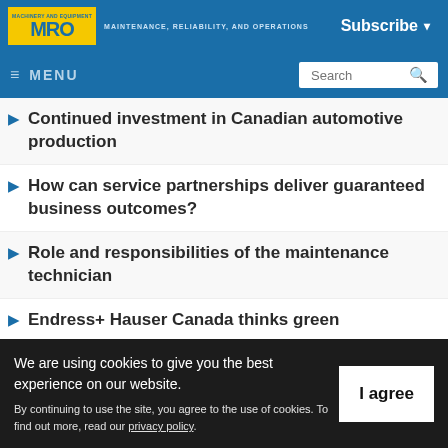MRO - MAINTENANCE, RELIABILITY, AND OPERATIONS | Subscribe
≡ MENU | Search
Continued investment in Canadian automotive production
How can service partnerships deliver guaranteed business outcomes?
Role and responsibilities of the maintenance technician
Endress+ Hauser Canada thinks green
We are using cookies to give you the best experience on our website. By continuing to use the site, you agree to the use of cookies. To find out more, read our privacy policy.